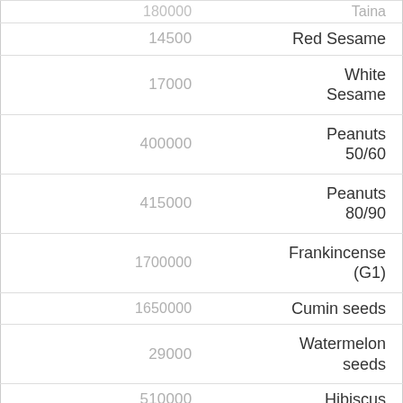| Value | Product |
| --- | --- |
| 180000 | Taina |
| 14500 | Red Sesame |
| 17000 | White Sesame |
| 400000 | Peanuts 50/60 |
| 415000 | Peanuts 80/90 |
| 1700000 | Frankincense (G1) |
| 1650000 | Cumin seeds |
| 29000 | Watermelon seeds |
| 510000 | Hibiscus |
| 7000 | Senna Pods |